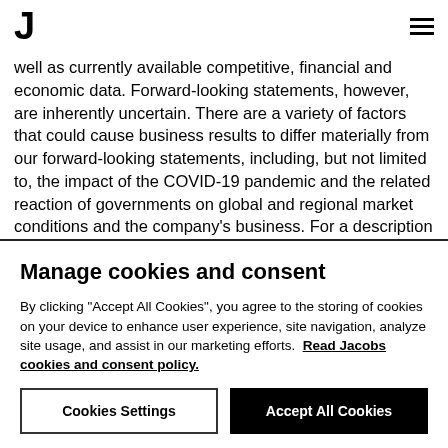J [logo] [hamburger menu]
well as currently available competitive, financial and economic data. Forward-looking statements, however, are inherently uncertain. There are a variety of factors that could cause business results to differ materially from our forward-looking statements, including, but not limited to, the impact of the COVID-19 pandemic and the related reaction of governments on global and regional market conditions and the company's business. For a description of some additional factors that may occur that could cause actual results to differ from our forward-looking statements, see our Annual Report on Form 10-K for the year ended September 27, 2019, and in particular the discussions contained under Item 1 – Business; Item
Manage cookies and consent
By clicking "Accept All Cookies", you agree to the storing of cookies on your device to enhance user experience, site navigation, analyze site usage, and assist in our marketing efforts.  Read Jacobs cookies and consent policy.
Cookies Settings   Accept All Cookies